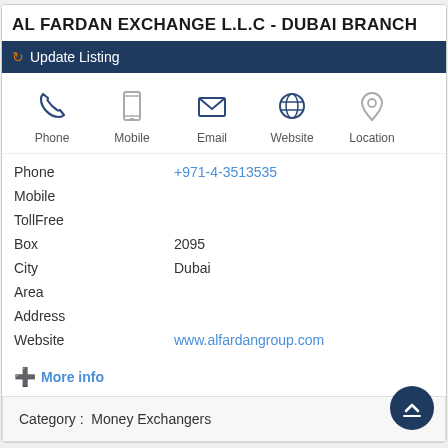AL FARDAN EXCHANGE L.L.C - DUBAI BRANCH
Update Listing
[Figure (infographic): Row of five contact icons: Phone (handset), Mobile (smartphone), Email (envelope), Website (globe), Location (map pin), each labeled below]
| Phone | +971-4-3513535 |
| Mobile |  |
| TollFree |  |
| Box | 2095 |
| City | Dubai |
| Area |  |
| Address |  |
| Website | www.alfardangroup.com |
More info
Category :  Money Exchangers